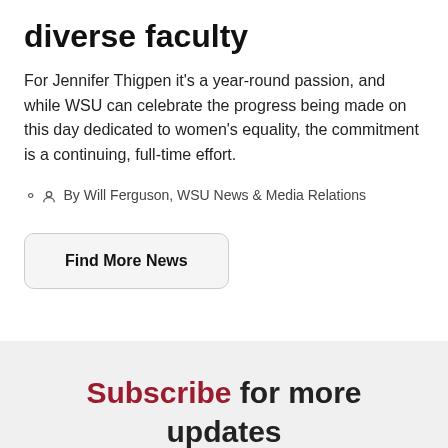diverse faculty
For Jennifer Thigpen it's a year-round passion, and while WSU can celebrate the progress being made on this day dedicated to women's equality, the commitment is a continuing, full-time effort.
By Will Ferguson, WSU News & Media Relations
Find More News
Subscribe for more updates
email address